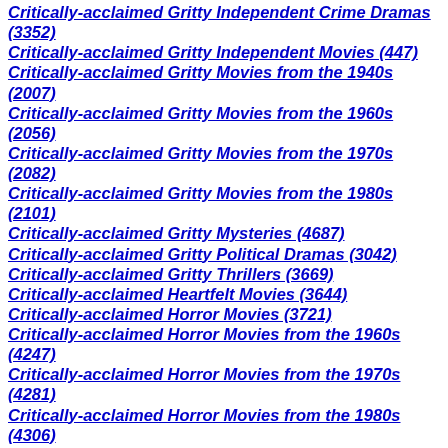Critically-acclaimed Gritty Independent Crime Dramas (3352)
Critically-acclaimed Gritty Independent Movies (447)
Critically-acclaimed Gritty Movies from the 1940s (2007)
Critically-acclaimed Gritty Movies from the 1960s (2056)
Critically-acclaimed Gritty Movies from the 1970s (2082)
Critically-acclaimed Gritty Movies from the 1980s (2101)
Critically-acclaimed Gritty Mysteries (4687)
Critically-acclaimed Gritty Political Dramas (3042)
Critically-acclaimed Gritty Thrillers (3669)
Critically-acclaimed Heartfelt Movies (3644)
Critically-acclaimed Horror Movies (3721)
Critically-acclaimed Horror Movies from the 1960s (4247)
Critically-acclaimed Horror Movies from the 1970s (4281)
Critically-acclaimed Horror Movies from the 1980s (4306)
Critically-acclaimed Independent Action & Adventure (4980)
Critically-acclaimed Independent Biographical Movies (4728)
Critically-acclaimed Independent Crime Movies (2566)
Critically-acclaimed Independent Crime Thrillers (3551)